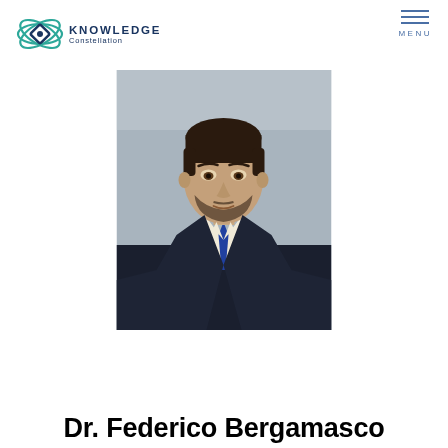KNOWLEDGE Constellation | MENU
[Figure (photo): Professional headshot of Dr. Federico Bergamasco — a man in a dark navy suit with a blue tie, white shirt, light grey background, short dark hair and beard, looking directly at the camera.]
Dr. Federico Bergamasco